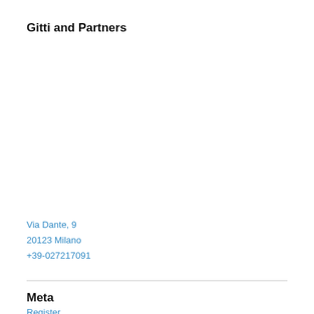Gitti and Partners
Via Dante, 9
20123 Milano
+39-027217091
Meta
Register